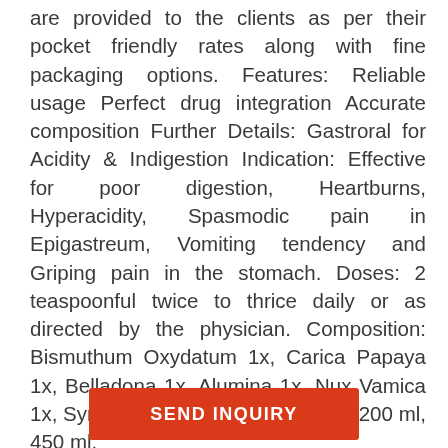are provided to the clients as per their pocket friendly rates along with fine packaging options. Features: Reliable usage Perfect drug integration Accurate composition Further Details: Gastroral for Acidity & Indigestion Indication: Effective for poor digestion, Heartburns, Hyperacidity, Spasmodic pain in Epigastreum, Vomiting tendency and Griping pain in the stomach. Doses: 2 teaspoonful twice to thrice daily or as directed by the physician. Composition: Bismuthum Oxydatum 1x, Carica Papaya 1x, Belladona 1x, Alumina 1x, Nux Vamica 1x, Syrup & Aqua Dist q.s. Packing: 200 ml, 450 ml.
SEND INQUIRY